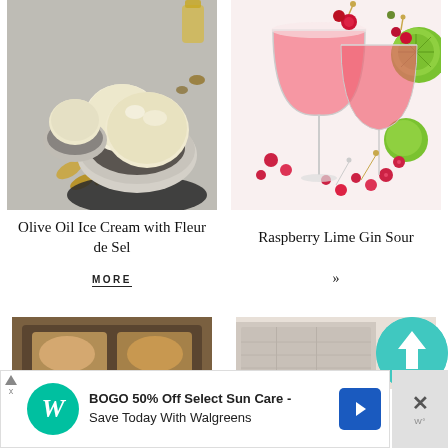[Figure (photo): Olive oil ice cream scoops in a ceramic bowl with gold spoons on a gray surface]
[Figure (photo): Two raspberry lime gin sour cocktails in coupe glasses with raspberries and lime garnish]
Olive Oil Ice Cream with Fleur de Sel
Raspberry Lime Gin Sour
MORE
»
[Figure (photo): Partial bottom image left - food item]
[Figure (photo): Partial bottom image right - content]
[Figure (logo): Teal circular logo with up arrow icon]
BOGO 50% Off Select Sun Care - Save Today With Walgreens